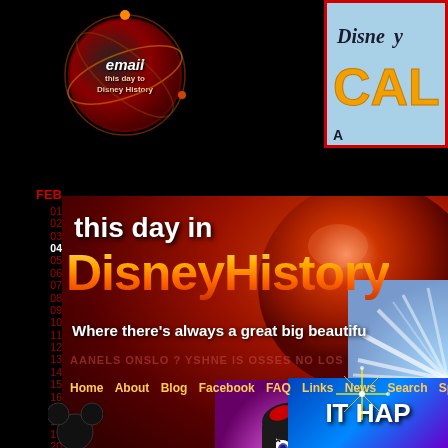[Figure (illustration): Email button circle with 'email this day to Disney History' text, dark red circular graphic with orbit lines]
[Figure (logo): Disney Channel logo partial view, top-right corner with blue background and red border, gold lettering 'DISNE CALI A']
FEB
01
02
03
04
05
06
07
08
09
10
11
12
13
14
15
16
17
18
19
20
21
22
23
24
this day in DisneyHistory
Where there's always a great big beautifu
AANELS ONSLO ? YSHNE IS OSSES NO LOS
Home About Blog Facebook FAQ Links News Search Spec
[Figure (illustration): Snow White princess illustration on purple/pink background holding red apple]
[Figure (illustration): Mickey Mouse ears silhouette icon, bottom left]
[Figure (illustration): Starburst/sparkle graphic with gold lines]
IT HAP